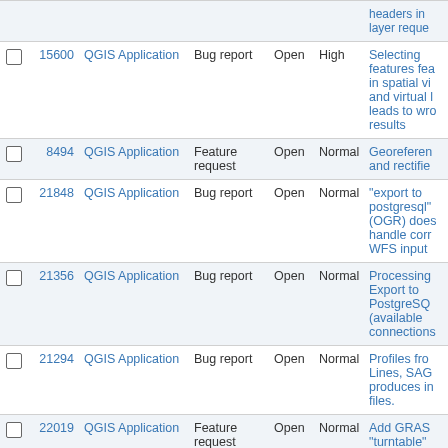|  | # | Project | Tracker | Status | Priority | Subject |
| --- | --- | --- | --- | --- | --- | --- |
|  | 15600 | QGIS Application | Bug report | Open | High | Selecting features fea in spatial vi and virtual l leads to wro results |
|  | 8494 | QGIS Application | Feature request | Open | Normal | Georeferen and rectifie |
|  | 21848 | QGIS Application | Bug report | Open | Normal | "export to postgresql" (OGR) does handle corr WFS input |
|  | 21356 | QGIS Application | Bug report | Open | Normal | Processing Export to PostgreSQ (available connections |
|  | 21294 | QGIS Application | Bug report | Open | Normal | Profiles fro Lines, SAG produces in files. |
|  | 22019 | QGIS Application | Feature request | Open | Normal | Add GRAS "turntable" parameters v.net modu |
|  | 21679 | QGIS Application | Feature request | Open | Normal | Add a GDAL/proc tool for ogr |
|  | 21571 | QGIS Application | Feature request | Open | Normal | GDAL War (Reproject |